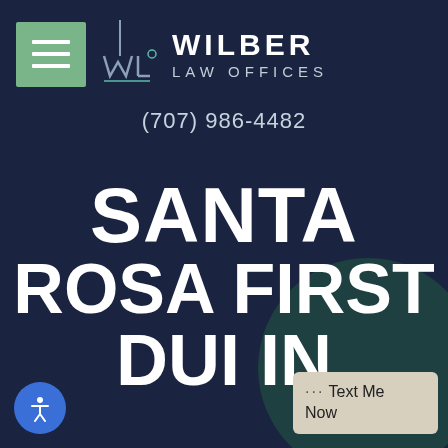[Figure (logo): Wilber Law Offices logo with green hamburger menu button, WL monogram, and firm name WILBER LAW OFFICES]
(707) 986-4482
SANTA ROSA FIRST DUI IN
[Figure (other): Accessibility icon button (blue circle with person icon)]
... Text Me Now